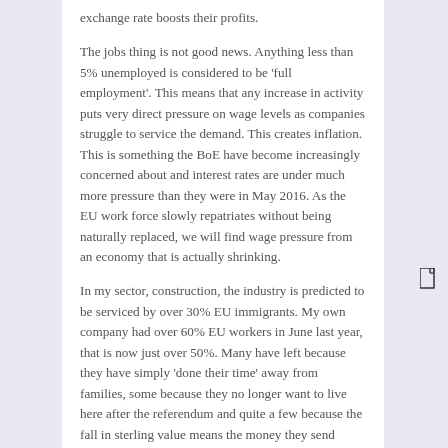The jobs thing is not good news. Anything less than 5% unemployed is considered to be 'full employment'. This means that any increase in activity puts very direct pressure on wage levels as companies struggle to service the demand. This creates inflation. This is something the BoE have become increasingly concerned about and interest rates are under much more pressure than they were in May 2016. As the EU work force slowly repatriates without being naturally replaced, we will find wage pressure from an economy that is actually shrinking.
In my sector, construction, the industry is predicted to be serviced by over 30% EU immigrants. My own company had over 60% EU workers in June last year, that is now just over 50%. Many have left because they have simply 'done their time' away from families, some because they no longer want to live here after the referendum and quite a few because the fall in sterling value means the money they send home is now worth much less. Those that had 'done their shift' away from home were always replaced by new entrants, but we are finding it harder to recruit and are moderating our workload to suit. We aren't the only ones doing this.